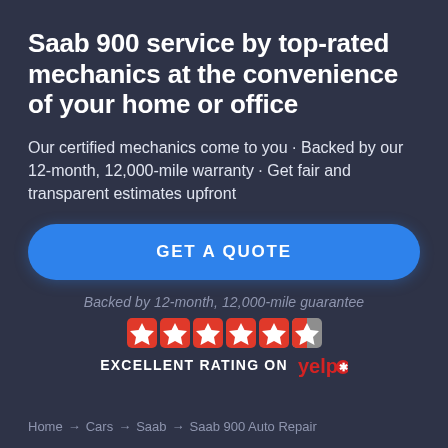Saab 900 service by top-rated mechanics at the convenience of your home or office
Our certified mechanics come to you · Backed by our 12-month, 12,000-mile warranty · Get fair and transparent estimates upfront
[Figure (other): GET A QUOTE button — large blue rounded rectangle button with white bold uppercase text]
Backed by 12-month, 12,000-mile guarantee
[Figure (other): Five red star rating icons followed by a partial star, indicating excellent Yelp rating]
EXCELLENT RATING ON yelp
Home → Cars → Saab → Saab 900 Auto Repair